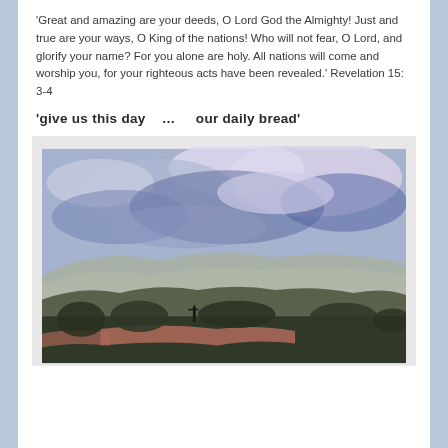'Great and amazing are your deeds, O Lord God the Almighty!  Just and true are your ways, O King of the nations!  Who will not fear, O Lord, and glorify your name?  For you alone are holy.  All nations will come and worship you, for your righteous acts have been revealed.'  Revelation 15: 3-4
'give us this day   ...   our daily bread'
[Figure (illustration): A landscape painting showing a wide sky with blue tones and white/lavender clouds in the upper portion, rolling hills or mountains in the middle distance rendered in muted greens and grays, and a foreground with darker trees/vegetation, a river or water body, and warm pinkish-red tones near the horizon line.]